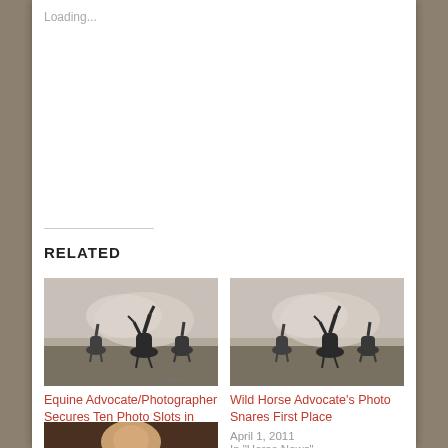Loading...
RELATED
[Figure (photo): Black and white photo of wild horses rearing up in a dusty field]
Equine Advocate/Photographer Secures Ten Photo Slots in Finals for International Competition
April 3, 2013
In "Horse News"
[Figure (photo): Black and white photo of wild horses rearing up in a dusty field, similar to the first]
Wild Horse Advocate's Photo Snares First Place
April 1, 2011
In "Horse News"
[Figure (photo): Partial photo showing a person with light/blonde hair, partially cropped at bottom of page]